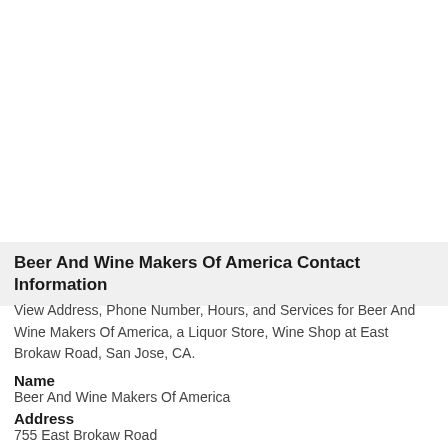Beer And Wine Makers Of America Contact Information
View Address, Phone Number, Hours, and Services for Beer And Wine Makers Of America, a Liquor Store, Wine Shop at East Brokaw Road, San Jose, CA.
Name
Beer And Wine Makers Of America
Address
755 East Brokaw Road
San Jose, California 95112